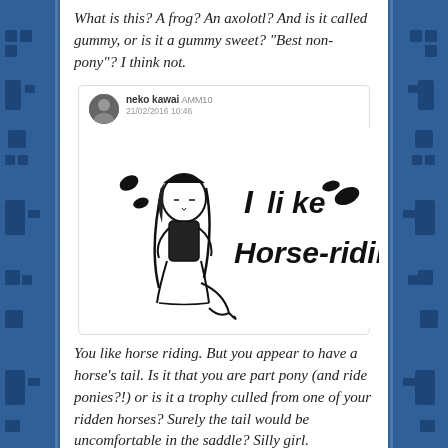What is this? A frog? An axolotl? And is it called gummy, or is it a gummy sweet? “Best non-pony”? I think not.
[Figure (screenshot): Tweet from neko kawai showing a hand-drawn image of an anime girl with a horse tail. Text reads 'I like Horse-riding'. Username: neko kawai, date: 21/02/2016 10:46]
You like horse riding. But you appear to have a horse’s tail. Is it that you are part pony (and ride ponies?!) or is it a trophy culled from one of your ridden horses? Surely the tail would be uncomfortable in the saddle? Silly girl.
[Figure (screenshot): Tweet from heise (dalycat000), date 10/02/2016 18:03, showing a hand-drawn sketch of a figure lying down or reclining.]